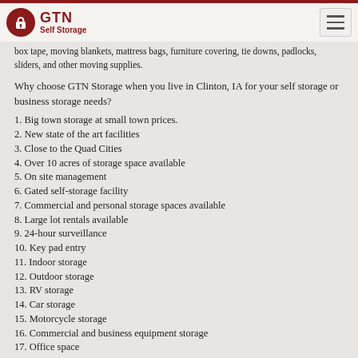GTN Self Storage
box tape, moving blankets, mattress bags, furniture covering, tie downs, padlocks, sliders, and other moving supplies.
Why choose GTN Storage when you live in Clinton, IA for your self storage or business storage needs?
1. Big town storage at small town prices.
2. New state of the art facilities
3. Close to the Quad Cities
4. Over 10 acres of storage space available
5. On site management
6. Gated self-storage facility
7. Commercial and personal storage spaces available
8. Large lot rentals available
9. 24-hour surveillance
10. Key pad entry
11. Indoor storage
12. Outdoor storage
13. RV storage
14. Car storage
15. Motorcycle storage
16. Commercial and business equipment storage
17. Office space